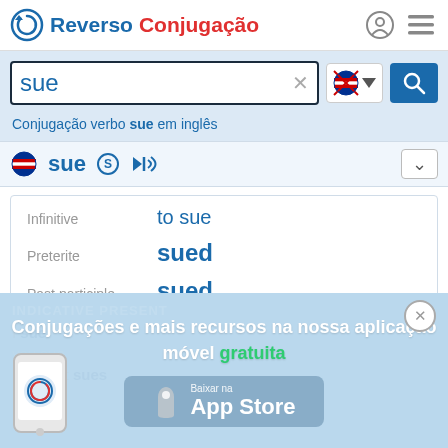Reverso Conjugação
sue ×
Conjugação verbo sue em inglês
sue
| Infinitive | to sue |
| Preterite | sued |
| Past participle | sued |
INDICATIVE PRESENT
I sue
you sue
he/she/it sues
Conjugações e mais recursos na nossa aplicação móvel gratuita
[Figure (screenshot): App Store download button and phone illustration overlay]